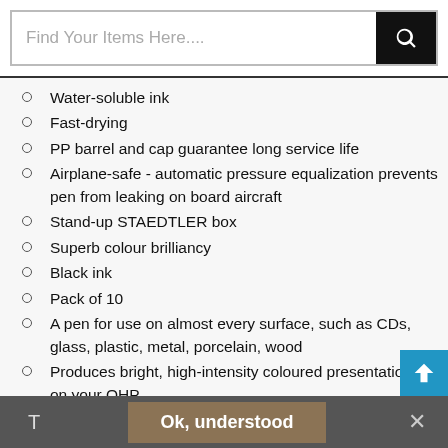[Figure (screenshot): Search bar with text 'Find Your Items Here....' and a black search button with magnifying glass icon]
Water-soluble ink
Fast-drying
PP barrel and cap guarantee long service life
Airplane-safe - automatic pressure equalization prevents pen from leaking on board aircraft
Stand-up STAEDTLER box
Superb colour brilliancy
Black ink
Pack of 10
A pen for use on almost every surface, such as CDs, glass, plastic, metal, porcelain, wood
Produces bright, high-intensity coloured presentations on your OHP
The wallet lid folds back to serve as a practical stand up box for easy access to the pens
Dry safe' ink allows for cap off time of two days
Superfine - Non-Permanent
T  Ok, understood  ×